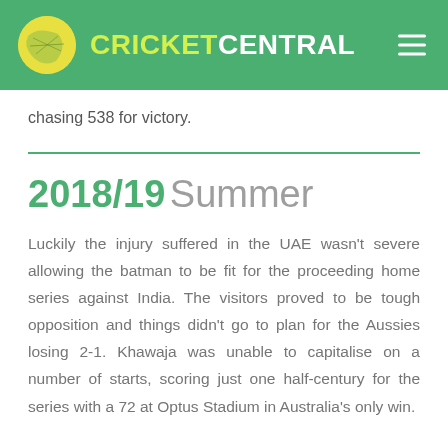CRICKET CENTRAL
chasing 538 for victory.
2018/19 Summer
Luckily the injury suffered in the UAE wasn't severe allowing the batman to be fit for the proceeding home series against India. The visitors proved to be tough opposition and things didn't go to plan for the Aussies losing 2-1. Khawaja was unable to capitalise on a number of starts, scoring just one half-century for the series with a 72 at Optus Stadium in Australia's only win.